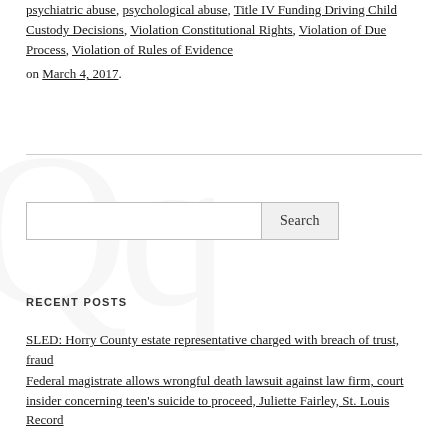psychiatric abuse, psychological abuse, Title IV Funding Driving Child Custody Decisions, Violation Constitutional Rights, Violation of Due Process, Violation of Rules of Evidence on March 4, 2017.
RECENT POSTS
SLED: Horry County estate representative charged with breach of trust, fraud
Federal magistrate allows wrongful death lawsuit against law firm, court insider concerning teen's suicide to proceed, Juliette Fairley, St. Louis Record